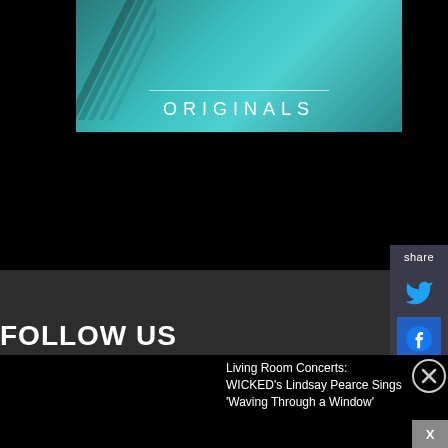[Figure (illustration): Teal/cyan gradient banner image with diagonal stripes on left side, a horizontal white line, and the word ORIGINALS in white spaced letters below the line]
FOLLOW US
Facebook
Twitter
Instagram
[Figure (infographic): Share sidebar panel with 'share' label, Twitter bird icon button, and Facebook icon button on dark blue-grey background]
Living Room Concerts: WICKED's Lindsay Pearce Sings 'Waving Through a Window'